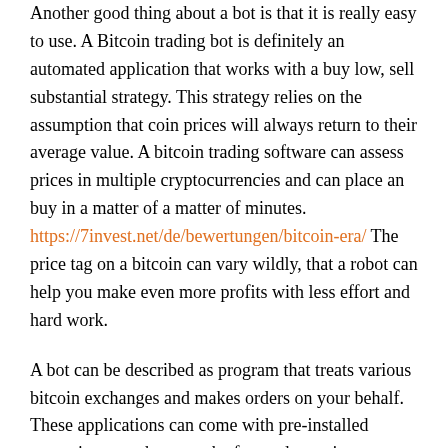Another good thing about a bot is that it is really easy to use. A Bitcoin trading bot is definitely an automated application that works with a buy low, sell substantial strategy. This strategy relies on the assumption that coin prices will always return to their average value. A bitcoin trading software can assess prices in multiple cryptocurrencies and can place an buy in a matter of a matter of minutes. https://7invest.net/de/bewertungen/bitcoin-era/ The price tag on a bitcoin can vary wildly, that a robot can help you make even more profits with less effort and hard work.
A bot can be described as program that treats various bitcoin exchanges and makes orders on your behalf. These applications can come with pre-installed strategies or perhaps can be focused on suit your trading style. Some of these bots are free, when other folks require a regular or gross annual subscription. These tools allow you to create your bitcoin accounts in minutes, and they'll produce trading decisions for you. There are